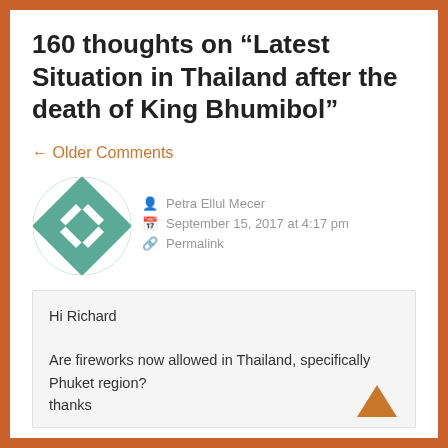160 thoughts on “Latest Situation in Thailand after the death of King Bhumibol”
← Older Comments
[Figure (illustration): Circular avatar with teal/white diamond and triangle geometric pattern]
Petra Ellul Mecer
September 15, 2017 at 4:17 pm
Permalink
Hi Richard

Are fireworks now allowed in Thailand, specifically Phuket region?
thanks